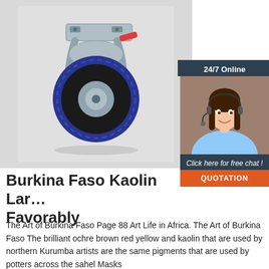[Figure (photo): Product photo of a blue rubber caster wheel with metal bracket and red brake lever, on a white/grey background]
[Figure (photo): Customer service representative woman with headset smiling, used as chat widget avatar]
Burkina Faso Kaolin Large Favorably
The Art of Burkina Faso Page 88 Art Life in Africa. The Art of Burkina Faso The brilliant ochre brown red yellow and kaolin that are used by northern Kurumba artists are the same pigments that are used by potters across the sahel Masks